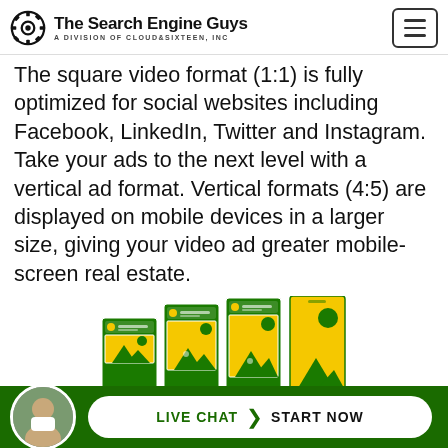The Search Engine Guys — A Division of Cloud Sixteen, Inc
The square video format (1:1) is fully optimized for social websites including Facebook, LinkedIn, Twitter and Instagram. Take your ads to the next level with a vertical ad format. Vertical formats (4:5) are displayed on mobile devices in a larger size, giving your video ad greater mobile-screen real estate.
[Figure (illustration): Four phone/device mockups showing different video ad aspect ratios side by side: Wide 16:9, Square 1:1, Vertical 4:5, and Vertical 9:16. Each mockup shows a green frame with a yellow landscape image (mountains and sun) displayed at the respective ratio.]
Wide 16:9    Square 1:1    Vertical 4:5    Vertical 9:16
LIVE CHAT  START NOW